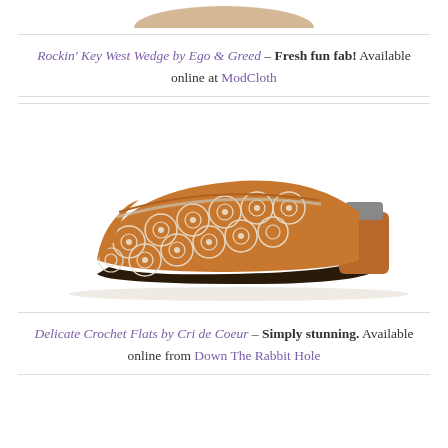[Figure (photo): Partial top image of a shoe (wedge), cropped at top of page]
Rockin' Key West Wedge by Ego & Greed – Fresh fun fab! Available online at ModCloth
[Figure (photo): Delicate crochet flat shoe by Cri de Coeur — white lace/crochet upper with tan/brown leather heel counter, side profile view on white background]
Delicate Crochet Flats by Cri de Coeur – Simply stunning. Available online from Down The Rabbit Hole